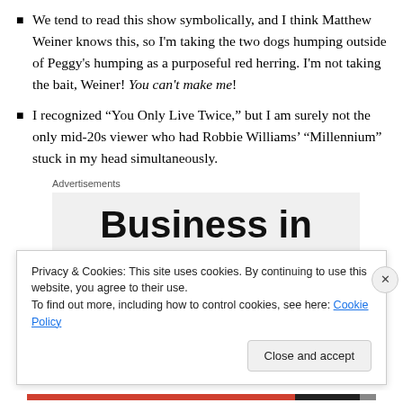We tend to read this show symbolically, and I think Matthew Weiner knows this, so I'm taking the two dogs humping outside of Peggy's humping as a purposeful red herring. I'm not taking the bait, Weiner! You can't make me!
I recognized “You Only Live Twice,” but I am surely not the only mid-20s viewer who had Robbie Williams’ “Millennium” stuck in my head simultaneously.
Advertisements
[Figure (other): Advertisement box showing large bold text 'Business in']
Privacy & Cookies: This site uses cookies. By continuing to use this website, you agree to their use.
To find out more, including how to control cookies, see here: Cookie Policy
Close and accept